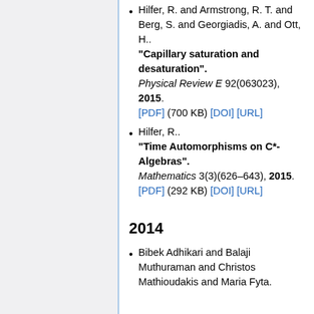Hilfer, R. and Armstrong, R. T. and Berg, S. and Georgiadis, A. and Ott, H.. "Capillary saturation and desaturation". Physical Review E 92(063023), 2015. [PDF] (700 KB) [DOI] [URL]
Hilfer, R.. "Time Automorphisms on C*-Algebras". Mathematics 3(3)(626–643), 2015. [PDF] (292 KB) [DOI] [URL]
2014
Bibek Adhikari and Balaji Muthuraman and Christos Mathioudakis and Maria Fyta.